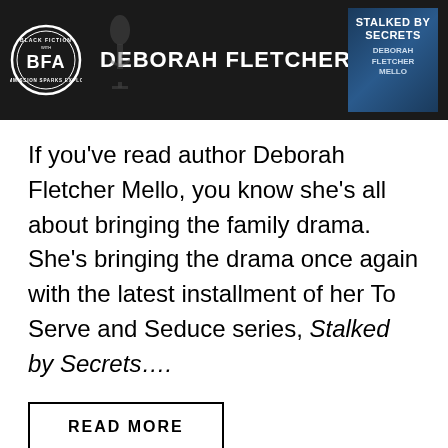[Figure (illustration): Black Fiction Addiction banner featuring BFA logo circle on left, author name DEBORAH FLETCHER MELLO in white text on dark background, and book cover for Stalked by Secrets on the right]
If you've read author Deborah Fletcher Mello, you know she's all about bringing the family drama. She's bringing the drama once again with the latest installment of her To Serve and Seduce series, Stalked by Secrets....
READ MORE